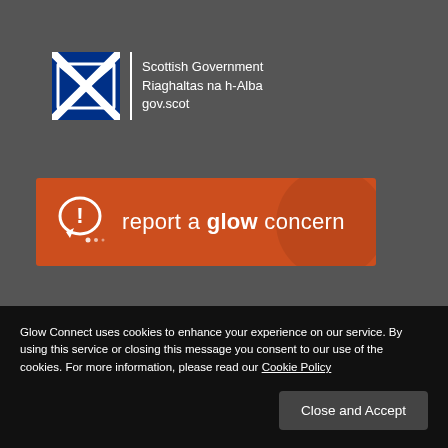[Figure (logo): Scottish Government logo: Saltire cross flag icon with white divider line and text 'Scottish Government / Riaghaltas na h-Alba / gov.scot']
[Figure (infographic): Orange banner with speech bubble warning icon and text 'report a glow concern']
Glow Connect uses cookies to enhance your experience on our service. By using this service or closing this message you consent to our use of the cookies. For more information, please read our Cookie Policy
Close and Accept